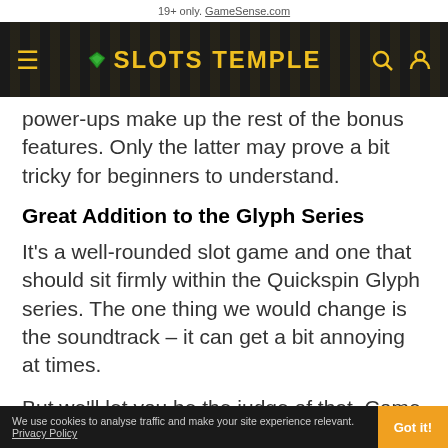19+ only. GameSense.com
[Figure (screenshot): Slots Temple navigation header with hamburger menu, logo, search and profile icons on dark background]
power-ups make up the rest of the bonus features. Only the latter may prove a bit tricky for beginners to understand.
Great Addition to the Glyph Series
It's a well-rounded slot game and one that should sit firmly within the Quickspin Glyph series. The one thing we would change is the soundtrack – it can get a bit annoying at times.
But we'll let you be the judge of that. Come and play the Warp Wreckers demo and enjoy some time-warping sci-fi slot play.
We use cookies to analyse traffic and make your site experience relevant. Privacy Policy  Got it!